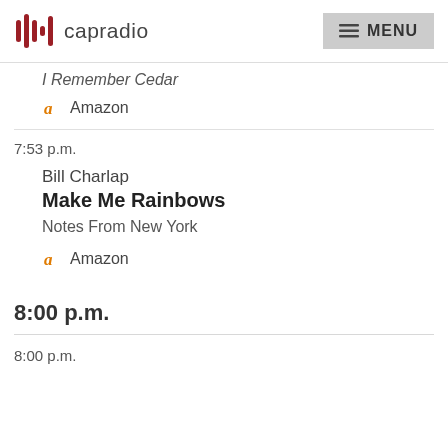capradio MENU
I Remember Cedar
Amazon
7:53 p.m.
Bill Charlap
Make Me Rainbows
Notes From New York
Amazon
8:00 p.m.
8:00 p.m.